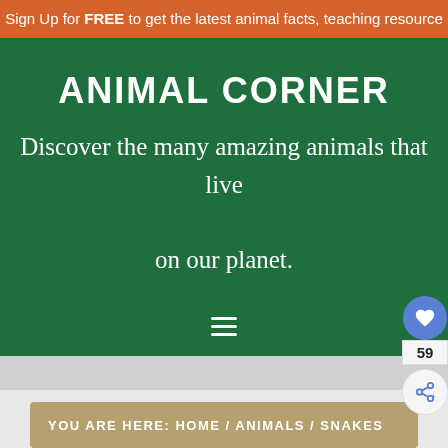Sign Up for FREE to get the latest animal facts, teaching resource
ANIMAL CORNER
Discover the many amazing animals that live on our planet.
YOU ARE HERE: HOME / ANIMALS / SNAKES